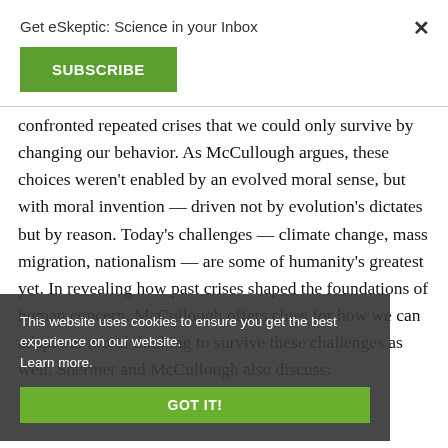Get eSkeptic: Science in your Inbox
SUBSCRIBE
confronted repeated crises that we could only survive by changing our behavior. As McCullough argues, these choices weren't enabled by an evolved moral sense, but with moral invention — driven not by evolution's dictates but by reason. Today's challenges — climate change, mass migration, nationalism — are some of humanity's greatest yet. In revealing how past crises shaped the foundations of human concern, McCullough offers clues for how we can adapt our moral thinking to survive these challenges as well. Shermer and McCullough also discuss:
This website uses cookies to ensure you get the best experience on our website. Learn more.
GOT IT!